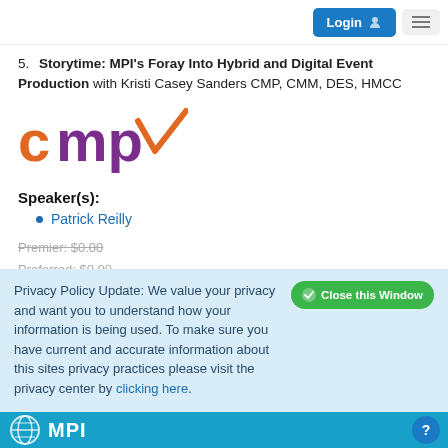Login | Menu
5. Storytime: MPI's Foray Into Hybrid and Digital Event Production with Kristi Casey Sanders CMP, CMM, DES, HMCC
[Figure (logo): CMP checkmark logo in purple and orange]
Speaker(s):
Patrick Reilly
Premier: $0.00
Preferred: $0.00
Essential: $0.00
Standard: $0.00
Privacy Policy Update: We value your privacy and want you to understand how your information is being used. To make sure you have current and accurate information about this sites privacy practices please visit the privacy center by clicking here.